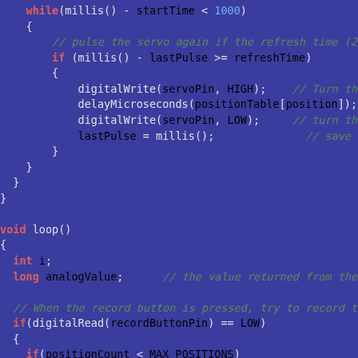[Figure (screenshot): Arduino/C++ code screenshot on dark blue background showing servo control loop code with syntax highlighting. Keywords in red, identifiers in white/light, numbers in blue, comments in green italic.]